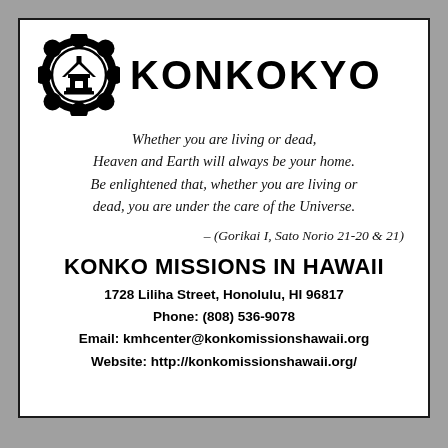[Figure (logo): Konkokyo logo: a floral/petal circular emblem in black with a shrine icon inside a circle at center, followed by bold text KONKOKYO]
Whether you are living or dead, Heaven and Earth will always be your home. Be enlightened that, whether you are living or dead, you are under the care of the Universe. – (Gorikai I, Sato Norio 21-20 & 21)
KONKO MISSIONS IN HAWAII
1728 Liliha Street, Honolulu, HI 96817
Phone: (808) 536-9078
Email: kmhcenter@konkomissionshawaii.org
Website: http://konkomissionshawaii.org/